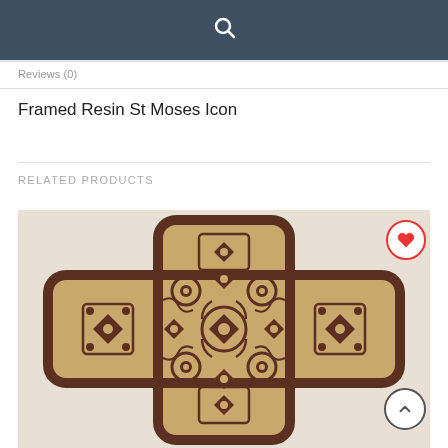🔍
Reviews (0)
Framed Resin St Moses Icon
RELATED PRODUCTS
[Figure (photo): A decorative wooden cross with intricate laser-cut geometric and floral patterns in light wood and dark brown, photographed against a light gray background. A red heart/wishlist button appears in the top-right corner and a scroll-to-top circular button in the bottom-right.]